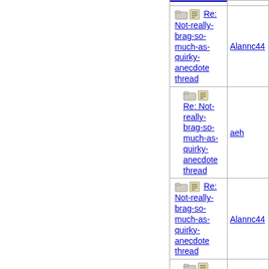| Subject | Author |
| --- | --- |
| Re: Not-really-brag-so-much-as-quirky-anecdote thread | Alannc44 |
| Re: Not-really-brag-so-much-as-quirky-anecdote thread | aeh |
| Re: Not-really-brag-so-much-as-quirky-anecdote thread | Alannc44 |
| Re: Not-really-brag-so-much-as-quirky-anecdote thread | aeh |
| Re: Not-really-brag-so-much-as-quirky-anecdote thread | mckinley |
| Re: Not-really-brag-so-much-as-quirky-anecdote thread | greenlotu |
| Re: Not-really- |  |